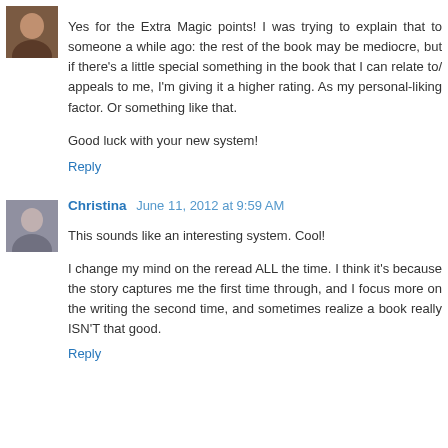Yes for the Extra Magic points! I was trying to explain that to someone a while ago: the rest of the book may be mediocre, but if there's a little special something in the book that I can relate to/ appeals to me, I'm giving it a higher rating. As my personal-liking factor. Or something like that.

Good luck with your new system!
Reply
Christina  June 11, 2012 at 9:59 AM
This sounds like an interesting system. Cool!

I change my mind on the reread ALL the time. I think it's because the story captures me the first time through, and I focus more on the writing the second time, and sometimes realize a book really ISN'T that good.
Reply